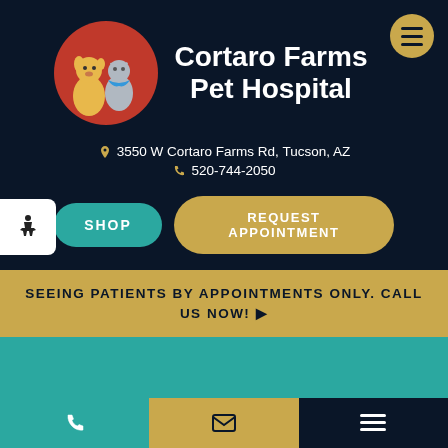[Figure (logo): Cortaro Farms Pet Hospital logo with dog and cat inside red circle]
Cortaro Farms Pet Hospital
3550 W Cortaro Farms Rd, Tucson, AZ
520-744-2050
SHOP
REQUEST APPOINTMENT
SEEING PATIENTS BY APPOINTMENTS ONLY. CALL US NOW!
Pet Care Tips